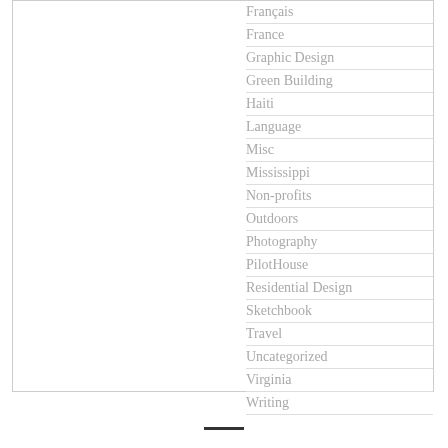Français
France
Graphic Design
Green Building
Haiti
Language
Misc
Mississippi
Non-profits
Outdoors
Photography
PilotHouse
Residential Design
Sketchbook
Travel
Uncategorized
Virginia
Writing